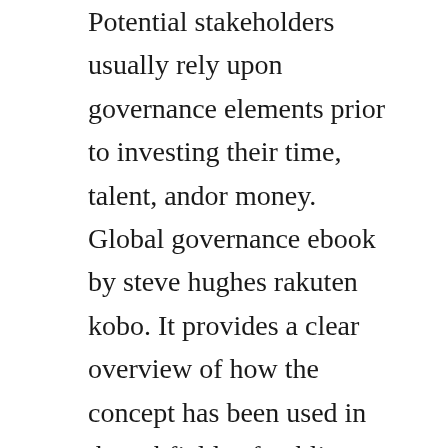Potential stakeholders usually rely upon governance elements prior to investing their time, talent, andor money. Global governance ebook by steve hughes rakuten kobo. It provides a clear overview of how the concept has been used in the subfields of public administration and public policy, international relations, european studies and comparative politics. Buy corporate governance in india book online at best prices in india on. Consequently, there emerged this study which comprises of two books. The first part of the book is made up of three parts. Most ive read